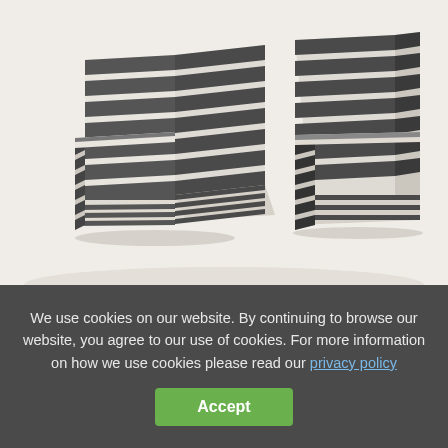[Figure (photo): Two armchairs upholstered in black and white horizontal stripes, photographed against a white/light grey background. The chairs are positioned at angles facing each other.]
We use cookies on our website. By continuing to browse our website, you agree to our use of cookies. For more information on how we use cookies please read our privacy policy
Accept